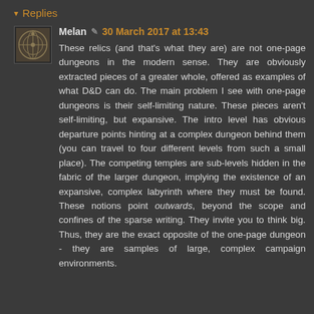▾ Replies
Melan ✎ 30 March 2017 at 13:43
These relics (and that's what they are) are not one-page dungeons in the modern sense. They are obviously extracted pieces of a greater whole, offered as examples of what D&D can do. The main problem I see with one-page dungeons is their self-limiting nature. These pieces aren't self-limiting, but expansive. The intro level has obvious departure points hinting at a complex dungeon behind them (you can travel to four different levels from such a small place). The competing temples are sub-levels hidden in the fabric of the larger dungeon, implying the existence of an expansive, complex labyrinth where they must be found. These notions point outwards, beyond the scope and confines of the sparse writing. They invite you to think big. Thus, they are the exact opposite of the one-page dungeon - they are samples of large, complex campaign environments.